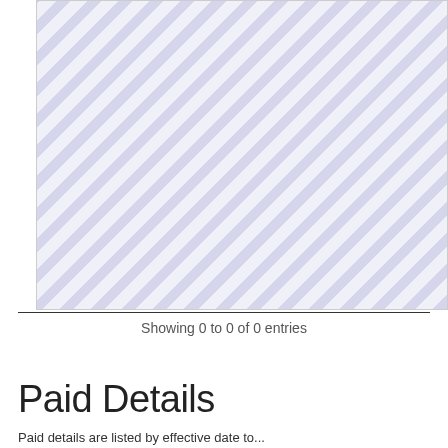[Figure (other): Diagonal stripe pattern placeholder area representing an empty data table or chart region]
Showing 0 to 0 of 0 entries
Paid Details
Paid details are listed by effective date to...